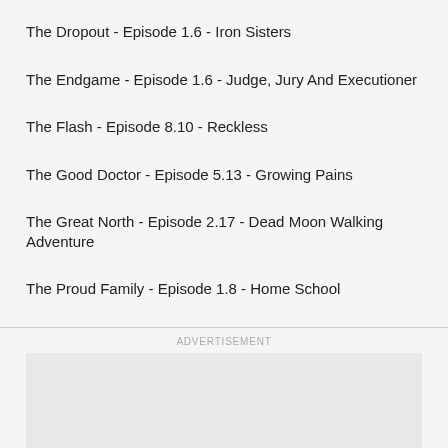The Dropout - Episode 1.6 - Iron Sisters
The Endgame - Episode 1.6 - Judge, Jury And Executioner
The Flash - Episode 8.10 - Reckless
The Good Doctor - Episode 5.13 - Growing Pains
The Great North - Episode 2.17 - Dead Moon Walking Adventure
The Proud Family - Episode 1.8 - Home School
ADVERTISEMENT
[Figure (other): Advertisement placeholder box (gray rectangle)]